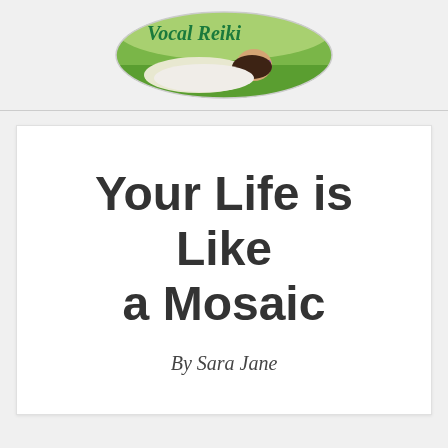[Figure (logo): Vocal Reiki logo: oval-shaped image with a woman lying in a field of flowers with green background and italic teal text 'Vocal Reiki' overlaid]
Your Life is Like a Mosaic
By Sara Jane